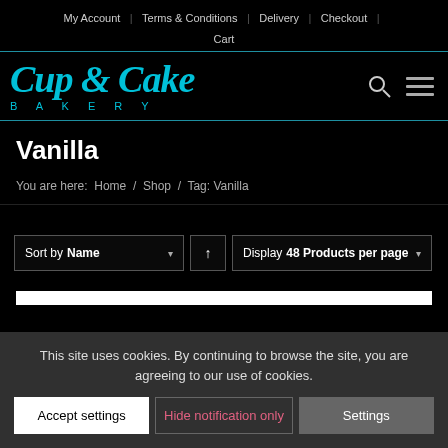My Account | Terms & Conditions | Delivery | Checkout | Cart
[Figure (logo): Cup & Cake Bakery logo in cyan/teal cursive text with search and menu icons]
Vanilla
You are here: Home / Shop / Tag: Vanilla
Sort by Name ↑ Display 48 Products per page
This site uses cookies. By continuing to browse the site, you are agreeing to our use of cookies.
Accept settings | Hide notification only | Settings